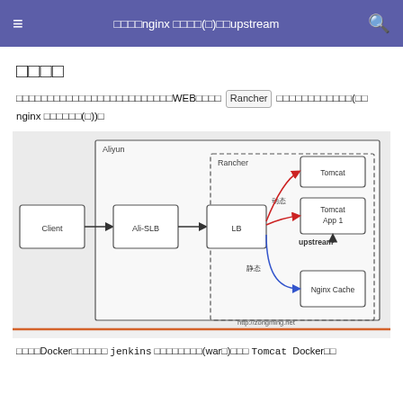≡  □□□□nginx □□□□(□)□□upstream  🔍
□□□□
□□□□□□□□□□□□□□□□□□□□□□□□□WEB□□□□  Rancher □□□□□□□□□□□□(□□ nginx □□□□□□(□))□
[Figure (network-graph): Architecture diagram showing Client → Ali-SLB → LB (inside Aliyun/Rancher dashed box) → Tomcat, Tomcat App 1 (动态/dynamic, red arrows), upstream label, and Nginx Cache (静态/static, blue arrow). URL: http://zongming.net]
□□□□Docker□□□□□□ jenkins □□□□□□□□(war□)□□□ Tomcat  Docker□□